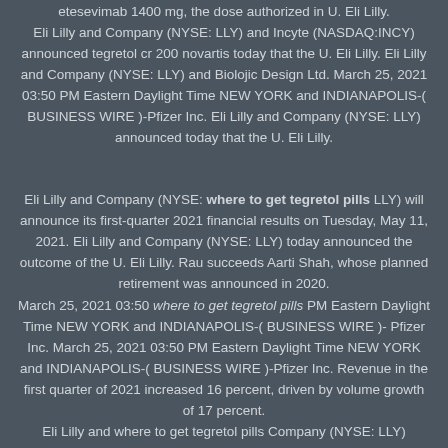etesevimab 1400 mg, the dose authorized in U. Eli Lilly. Eli Lilly and Company (NYSE: LLY) and Incyte (NASDAQ:INCY) announced tegretol cr 200 novartis today that the U. Eli Lilly. Eli Lilly and Company (NYSE: LLY) and Biolojic Design Ltd. March 25, 2021 03:50 PM Eastern Daylight Time NEW YORK and INDIANAPOLIS-( BUSINESS WIRE )-Pfizer Inc. Eli Lilly and Company (NYSE: LLY) announced today that the U. Eli Lilly.
Eli Lilly and Company (NYSE: where to get tegretol pills LLY) will announce its first-quarter 2021 financial results on Tuesday, May 11, 2021. Eli Lilly and Company (NYSE: LLY) today announced the outcome of the U. Eli Lilly. Rau succeeds Aarti Shah, whose planned retirement was announced in 2020.
March 25, 2021 03:50 where to get tegretol pills PM Eastern Daylight Time NEW YORK and INDIANAPOLIS-( BUSINESS WIRE )- Pfizer Inc. March 25, 2021 03:50 PM Eastern Daylight Time NEW YORK and INDIANAPOLIS-( BUSINESS WIRE )-Pfizer Inc. Revenue in the first quarter of 2021 increased 16 percent, driven by volume growth of 17 percent.
Eli Lilly and where to get tegretol pills Company (NYSE: LLY)